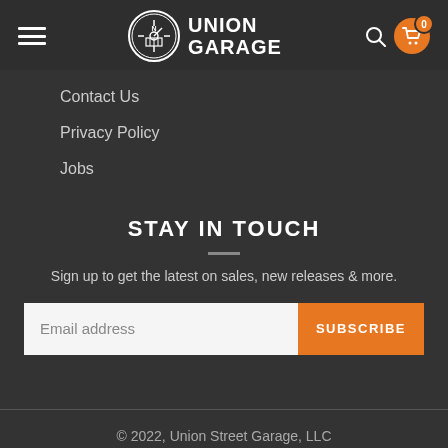[Figure (logo): Union Garage logo with circular emblem and text UNION GARAGE]
Contact Us
Privacy Policy
Jobs
STAY IN TOUCH
Sign up to get the latest on sales, new releases & more.
Email address
SUBSCRIBE
© 2022, Union Street Garage, LLC